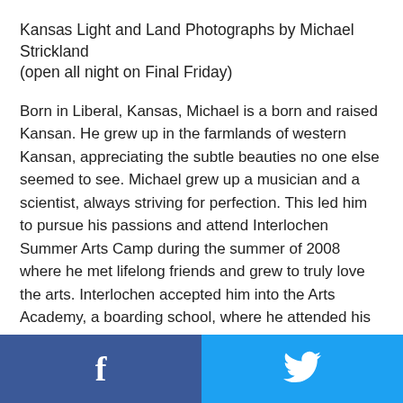Kansas Light and Land Photographs by Michael Strickland
(open all night on Final Friday)
Born in Liberal, Kansas, Michael is a born and raised Kansan. He grew up in the farmlands of western Kansan, appreciating the subtle beauties no one else seemed to see. Michael grew up a musician and a scientist, always striving for perfection. This led him to pursue his passions and attend Interlochen Summer Arts Camp during the summer of 2008 where he met lifelong friends and grew to truly love the arts. Interlochen accepted him into the Arts Academy, a boarding school, where he attended his final year of high school. It was here that Michael fine-tuned his artistic vision and work ethic under some of the most phenomenal arts instructors in the world. As a jazz saxophonist, Michael was
Facebook share | Twitter share